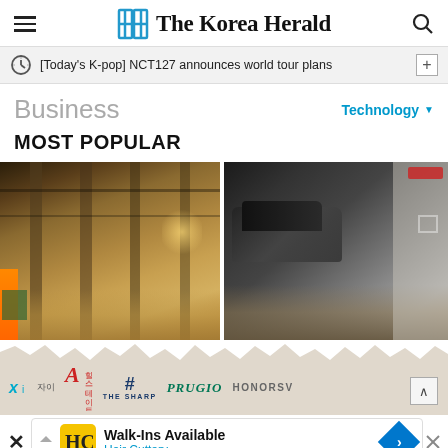The Korea Herald
[Today's K-pop] NCT127 announces world tour plans
Business
Technology
MOST POPULAR
[Figure (photo): Two flood photos side by side: left shows flooded underground parking garage with murky brown water; right shows flooded area with a car partially submerged in dark floodwater]
[Figure (photo): Torn paper banner showing Korean apartment brand logos: Xi (자이), Hillstate (힐스테이트), THE SHARP, PRUGIO, HONORSV]
Walk-Ins Available
Hair Cuttery